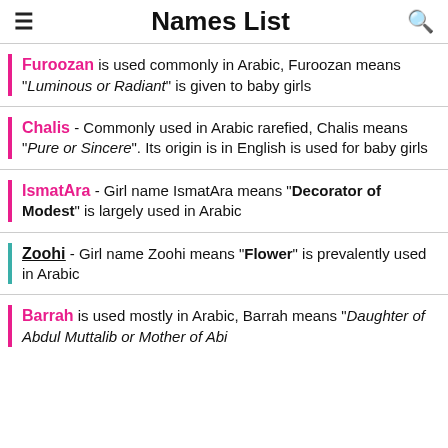Names List
Furoozan is used commonly in Arabic, Furoozan means "Luminous or Radiant" is given to baby girls
Chalis - Commonly used in Arabic rarefied, Chalis means "Pure or Sincere". Its origin is in English is used for baby girls
IsmatAra - Girl name IsmatAra means "Decorator of Modest" is largely used in Arabic
Zoohi - Girl name Zoohi means "Flower" is prevalently used in Arabic
Barrah is used mostly in Arabic, Barrah means "Daughter of Abdul Muttalib or Mother of Abi